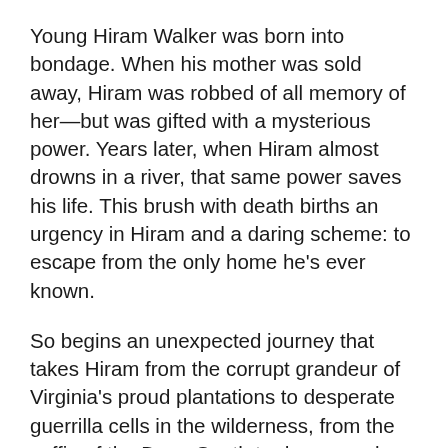Young Hiram Walker was born into bondage. When his mother was sold away, Hiram was robbed of all memory of her—but was gifted with a mysterious power. Years later, when Hiram almost drowns in a river, that same power saves his life. This brush with death births an urgency in Hiram and a daring scheme: to escape from the only home he's ever known.
So begins an unexpected journey that takes Hiram from the corrupt grandeur of Virginia's proud plantations to desperate guerrilla cells in the wilderness, from the coffin of the Deep South to dangerously idealistic movements in the North. Even as he's enlisted in the underground war between slavers and the enslaved, Hiram's resolve to rescue the family he left behind endures.
This is the dramatic story of a country's inflicted…